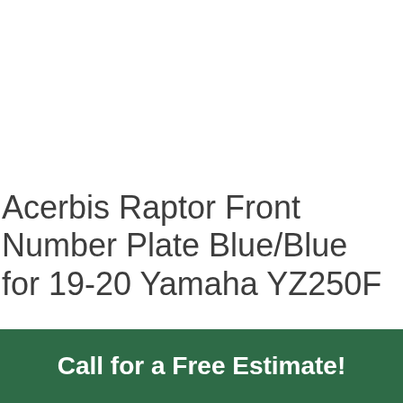Acerbis Raptor Front Number Plate Blue/Blue for 19-20 Yamaha YZ250F
Call for a Free Estimate!